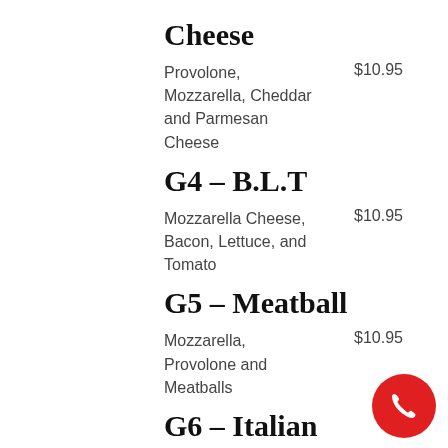Cheese
Provolone, Mozzarella, Cheddar and Parmesan Cheese
$10.95
G4 – B.L.T
Mozzarella Cheese, Bacon, Lettuce, and Tomato
$10.95
G5 – Meatball
Mozzarella, Provolone and Meatballs
$10.95
G6 – Italian
Genoa Salami, Pepperoni, Capicola, Pepper Ham, Provolone and Mozzarella
$10.95
[Figure (other): Red circular phone/call button icon in the bottom right corner]